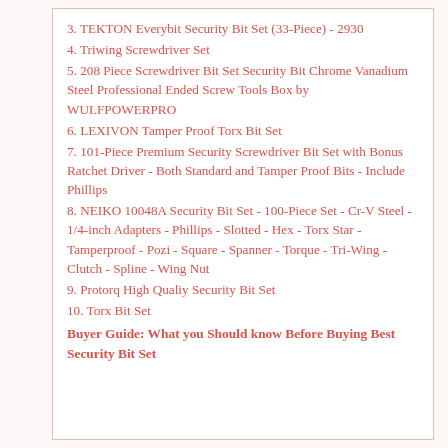3. TEKTON Everybit Security Bit Set (33-Piece) - 2930
4. Triwing Screwdriver Set
5. 208 Piece Screwdriver Bit Set Security Bit Chrome Vanadium Steel Professional Ended Screw Tools Box by WULFPOWERPRO
6. LEXIVON Tamper Proof Torx Bit Set
7. 101-Piece Premium Security Screwdriver Bit Set with Bonus Ratchet Driver - Both Standard and Tamper Proof Bits - Include Phillips
8. NEIKO 10048A Security Bit Set - 100-Piece Set - Cr-V Steel - 1/4-inch Adapters - Phillips - Slotted - Hex - Torx Star - Tamperproof - Pozi - Square - Spanner - Torque - Tri-Wing - Clutch - Spline - Wing Nut
9. Protorq High Qualiy Security Bit Set
10. Torx Bit Set
Buyer Guide: What you Should know Before Buying Best Security Bit Set